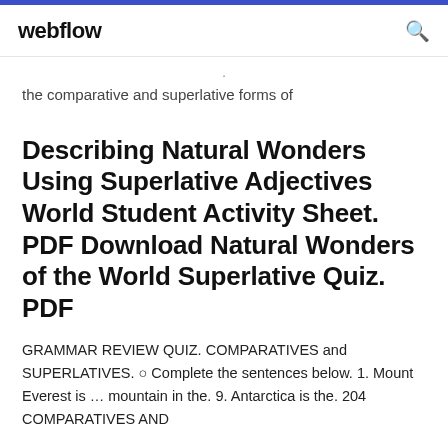webflow
the comparative and superlative forms of
Describing Natural Wonders Using Superlative Adjectives World Student Activity Sheet. PDF Download Natural Wonders of the World Superlative Quiz. PDF
GRAMMAR REVIEW QUIZ. COMPARATIVES and SUPERLATIVES. ○ Complete the sentences below. 1. Mount Everest is ... mountain in the. 9. Antarctica is the. 204 COMPARATIVES AND